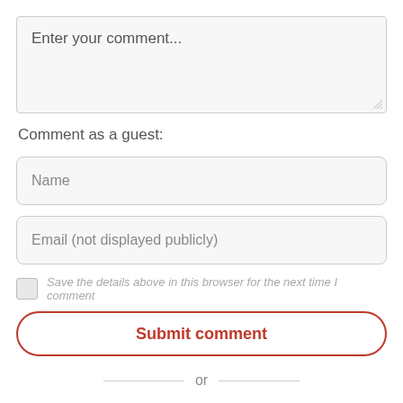[Figure (screenshot): Comment text area input box with placeholder text 'Enter your comment...' and resize handle at bottom right]
Comment as a guest:
[Figure (screenshot): Name input field with placeholder text 'Name']
[Figure (screenshot): Email input field with placeholder text 'Email (not displayed publicly)']
Save the details above in this browser for the next time I comment
Submit comment
or